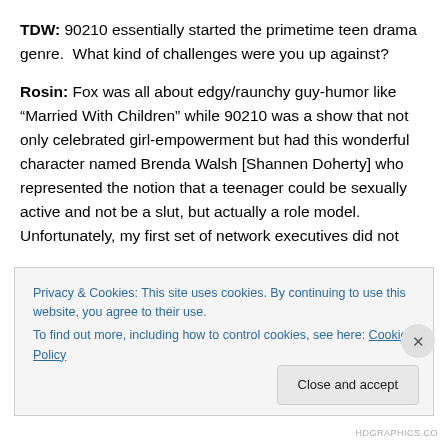TDW: 90210 essentially started the primetime teen drama genre.  What kind of challenges were you up against?
Rosin: Fox was all about edgy/raunchy guy-humor like “Married With Children” while 90210 was a show that not only celebrated girl-empowerment but had this wonderful character named Brenda Walsh [Shannen Doherty] who represented the notion that a teenager could be sexually active and not be a slut, but actually a role model. Unfortunately, my first set of network executives did not
Privacy & Cookies: This site uses cookies. By continuing to use this website, you agree to their use.
To find out more, including how to control cookies, see here: Cookie Policy